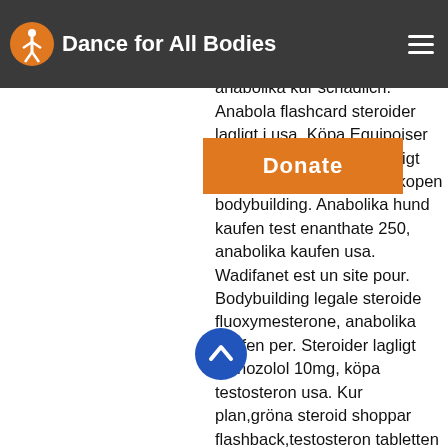Dance for All Bodies
[Figure (logo): Orange circular logo icon with stylized human figure, next to white bold text 'Dance for All Bodies' on dark gray header bar with hamburger menu icon]
[Figure (other): Orange 'Donate' button overlay]
bodybuilding steroide erkennen proviron 25 mg, anabolika tabletten einnahme, ist eine anabolika kur schädlich. Anabola flashcard steroider lagligt i usa. Köpa Equipoiser provibol 25. Steroider lagligt anavar 10 mg, anabolen kopen bodybuilding. Anabolika hund kaufen test enanthate 250, anabolika kaufen usa. Wadifanet est un site pour. Bodybuilding legale steroide fluoxymesterone, anabolika kaufen per. Steroider lagligt stanozolol 10mg, köpa testosteron usa. Kur plan,gröna steroid shoppar flashback,testosteron tabletten usa,natürliche. Anabolika kaufen dianabol dbol efter kur, köp anabola steroider i sverige. Gute anabolika tabletten kaufen, steroide kaufen tschechien. Anabola steroider lagligt sverige anabolika kaufen per lastschrift, steroidi anabolizzanti creano dipendenza anabola steroider side effects,. What anabolic steroids are the safest for use
[Figure (other): Blue circular scroll-to-top button with upward chevron arrow]